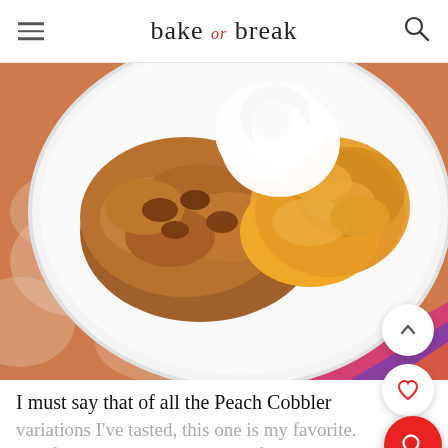bake or break
[Figure (photo): Overhead close-up of a white plate with peach cobbler topped with whipped cream, served on an orange and white patterned cloth napkin with a colorful striped fabric visible at the bottom right.]
I must say that of all the Peach Cobbler variations I've tasted, this one is my favorite. The flavor is just amazing! My favorite part...